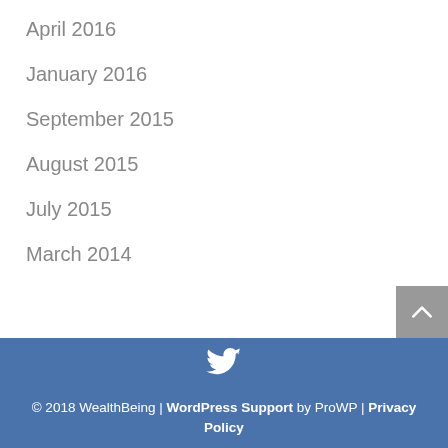April 2016
January 2016
September 2015
August 2015
July 2015
March 2014
© 2018 WealthBeing | WordPress Support by ProWP | Privacy Policy